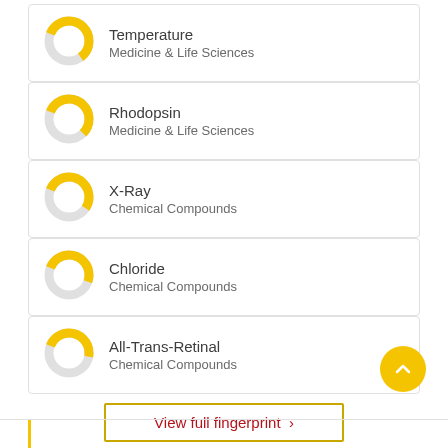Temperature — Medicine & Life Sciences
Rhodopsin — Medicine & Life Sciences
X-Ray — Chemical Compounds
Chloride — Chemical Compounds
All-Trans-Retinal — Chemical Compounds
View full fingerprint ›